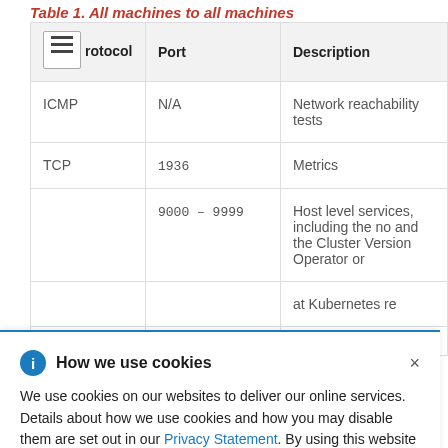Table 1. All machines to all machines
| Protocol | Port | Description |
| --- | --- | --- |
| ICMP | N/A | Network reachability tests |
| TCP | 1936 | Metrics |
|  | 9000 – 9999 | Host level services, including the no and the Cluster Version Operator or |
|  |  | at Kubernetes re |
|  |  |  |
|  |  |  |
How we use cookies
We use cookies on our websites to deliver our online services. Details about how we use cookies and how you may disable them are set out in our Privacy Statement. By using this website you agree to our use of cookies.